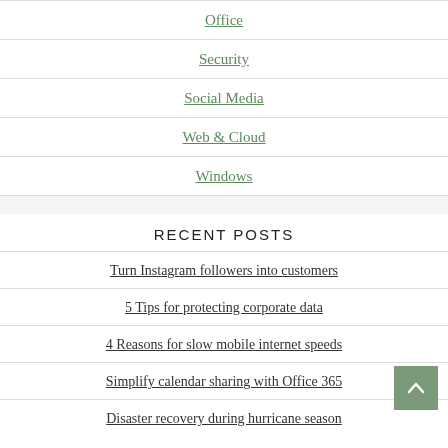Office
Security
Social Media
Web & Cloud
Windows
RECENT POSTS
Turn Instagram followers into customers
5 Tips for protecting corporate data
4 Reasons for slow mobile internet speeds
Simplify calendar sharing with Office 365
Disaster recovery during hurricane season